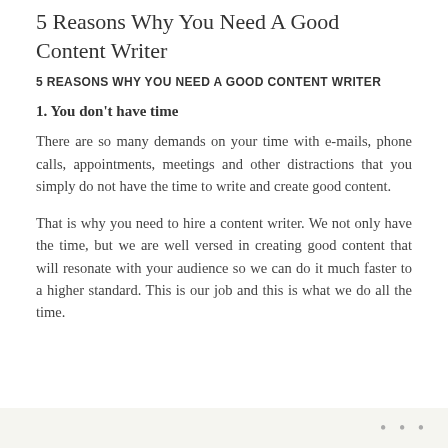5 Reasons Why You Need A Good Content Writer
5 REASONS WHY YOU NEED A GOOD CONTENT WRITER
1. You don't have time
There are so many demands on your time with e-mails, phone calls, appointments, meetings and other distractions that you simply do not have the time to write and create good content.
That is why you need to hire a content writer. We not only have the time, but we are well versed in creating good content that will resonate with your audience so we can do it much faster to a higher standard. This is our job and this is what we do all the time.
• • •